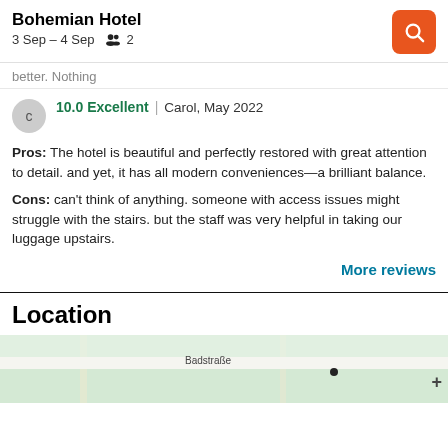Bohemian Hotel
3 Sep – 4 Sep   2
better. Nothing
10.0 Excellent | Carol, May 2022
Pros: The hotel is beautiful and perfectly restored with great attention to detail. and yet, it has all modern conveniences—a brilliant balance.
Cons: can't think of anything. someone with access issues might struggle with the stairs. but the staff was very helpful in taking our luggage upstairs.
More reviews
Location
[Figure (map): Map showing location near Badstraße]